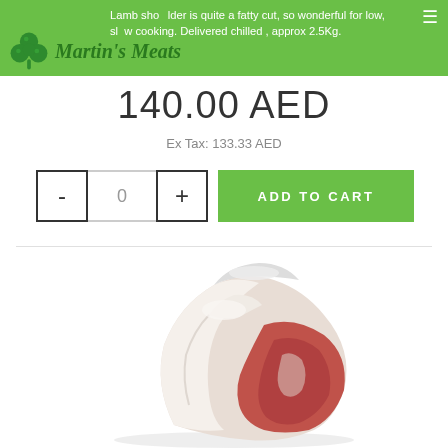Lamb shoulder is quite a fatty cut, so wonderful for low, slow cooking. Delivered chilled , approx 2.5Kg.
[Figure (logo): Martin's Meats logo with green shamrock clover and italic green text]
140.00 AED
Ex Tax: 133.33 AED
- | 0 | + ADD TO CART
[Figure (photo): Raw lamb shoulder cut on white background, showing bone and meat with fat covering]